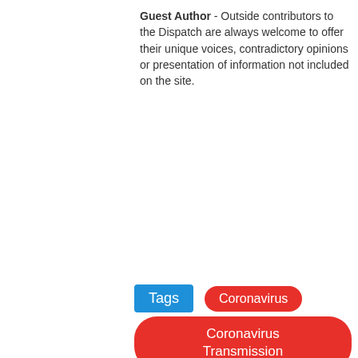Guest Author - Outside contributors to the Dispatch are always welcome to offer their unique voices, contradictory opinions or presentation of information not included on the site.
Tags  Coronavirus  Coronavirus Transmission  COVID-19  Dating